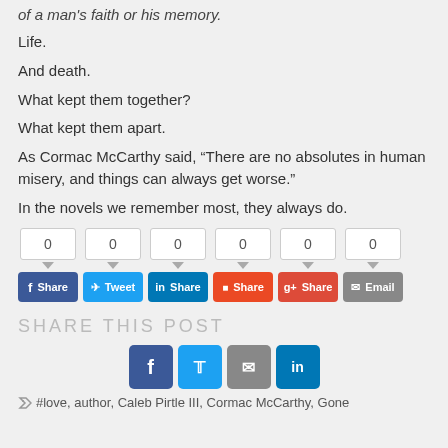of a man's faith or his memory.
Life.
And death.
What kept them together?
What kept them apart.
As Cormac McCarthy said, “There are no absolutes in human misery, and things can always get worse.”
In the novels we remember most, they always do.
[Figure (infographic): Social share buttons row with counters showing 0 for Facebook Share, Twitter Tweet, LinkedIn Share, StumbleUpon Share, Google+ Share, and Email]
SHARE THIS POST
[Figure (infographic): Large social share icon buttons: Facebook (f), Twitter (bird), Email (envelope), LinkedIn (in)]
#love, author, Caleb Pirtle III, Cormac McCarthy, Gone